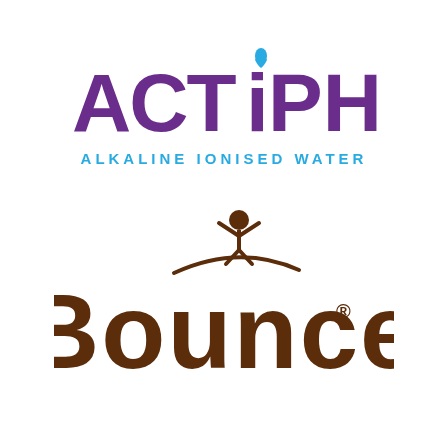[Figure (logo): ACTiPH Alkaline Ionised Water logo — large purple bold letters spelling ACTiPH with a blue water droplet above the i, and blue spaced-out text below reading ALKALINE IONISED WATER]
[Figure (logo): Bounce logo — stylized brown bubbly letters spelling Bounce with a registered trademark symbol, and a small stick figure jumping above the text with a curved swoosh line]